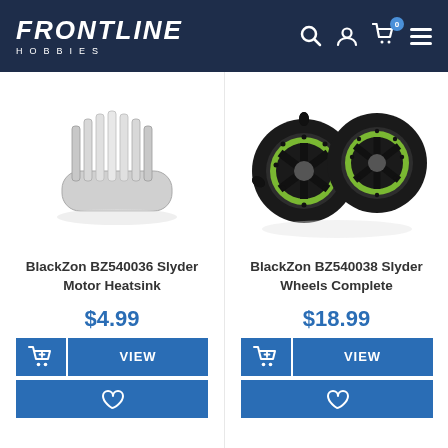FRONTLINE HOBBIES
[Figure (photo): BlackZon BZ540036 Slyder Motor Heatsink - silver aluminum finned heatsink component]
[Figure (photo): BlackZon BZ540038 Slyder Wheels Complete - two black wheels with green rims and off-road tires]
BlackZon BZ540036 Slyder Motor Heatsink
$4.99
BlackZon BZ540038 Slyder Wheels Complete
$18.99